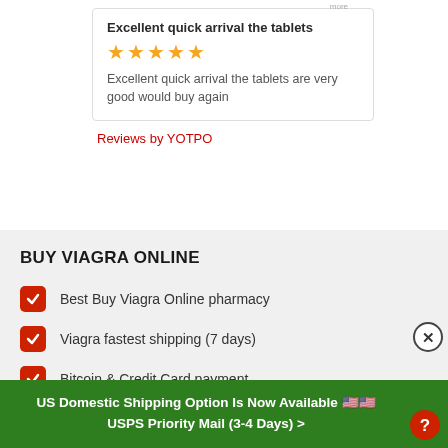Excellent quick arrival the tablets
★★★★★
Excellent quick arrival the tablets are very good would buy again
Reviews by YOTPO
BUY VIAGRA ONLINE
Best Buy Viagra Online pharmacy
Viagra fastest shipping (7 days)
Bitcoin & Credit Card payment
FDA-approved ED drugs only
US Domestic Shipping Option Is Now Available 🇺🇸🇺🇸 USPS Priority Mail (3-4 Days) >